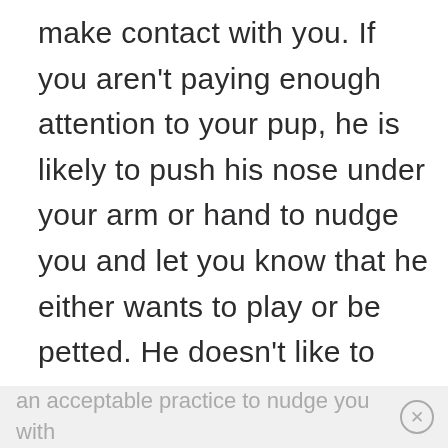make contact with you. If you aren't paying enough attention to your pup, he is likely to push his nose under your arm or hand to nudge you and let you know that he either wants to play or be petted. He doesn't like to take no for an answer. If you're stern with him, he will usually back off because he isn't a belligerent type dog, but it's hard to resist the cute little demands that he makes on his owners. The more you give in to his demands, the more he will think that it's
an acceptable practice to nudge you with